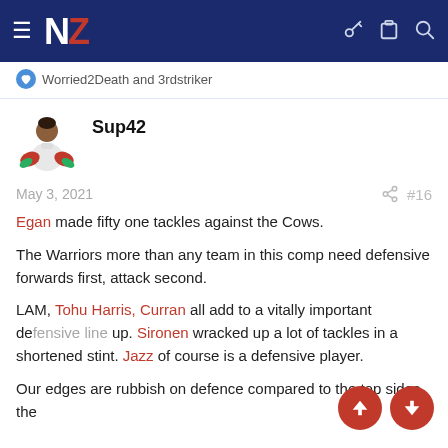NZ Warriors forum navigation bar
Worried2Death and 3rdstriker
Sup42
May 3, 2021  #16
Egan made fifty one tackles against the Cows.

The Warriors more than any team in this comp need defensive forwards first, attack second.

LAM, Tohu Harris, Curran all add to a vitally important defensive line up. Sironen wracked up a lot of tackles in a shortened stint. Jazz of course is a defensive player.

Our edges are rubbish on defence compared to the top sides, the